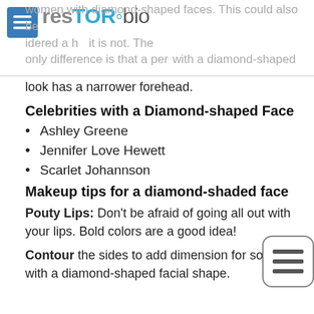resTORbio
women with diamond-shaped faces. This could also be considered a heart-shaped facial look, but it is not. The only difference is that a person with a diamond-shaped look has a narrower forehead.
Celebrities with a Diamond-shaped Face
Ashley Greene
Jennifer Love Hewett
Scarlet Johannson
Makeup tips for a diamond-shaded face
Pouty Lips: Don't be afraid of going all out with your lips. Bold colors are a good idea!
Contour the sides to add dimension for someone with a diamond-shaped facial shape.